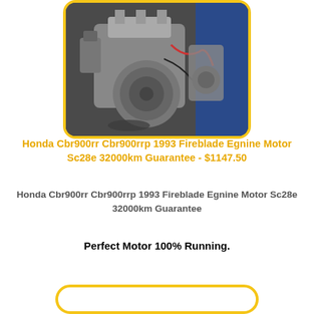[Figure (photo): Photo of a Honda CBR900RR motorcycle engine (Fireblade), shown close-up with engine cases visible, grey/silver finish, workshop background with blue frame, displayed inside a yellow-bordered rounded rectangle.]
Honda Cbr900rr Cbr900rrp 1993 Fireblade Egnine Motor Sc28e 32000km Guarantee - $1147.50
Honda Cbr900rr Cbr900rrp 1993 Fireblade Egnine Motor Sc28e 32000km Guarantee
Perfect Motor 100% Running.